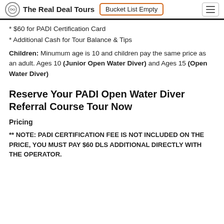The Real Deal Tours | Bucket List Empty
* $60 for PADI Certification Card
* Additional Cash for Tour Balance & Tips
Children: Minumum age is 10 and children pay the same price as an adult. Ages 10 (Junior Open Water Diver) and Ages 15 (Open Water Diver)
Reserve Your PADI Open Water Diver Referral Course Tour Now
Pricing
** NOTE: PADI CERTIFICATION FEE IS NOT INCLUDED ON THE PRICE, YOU MUST PAY $60 DLS ADDITIONAL DIRECTLY WITH THE OPERATOR.